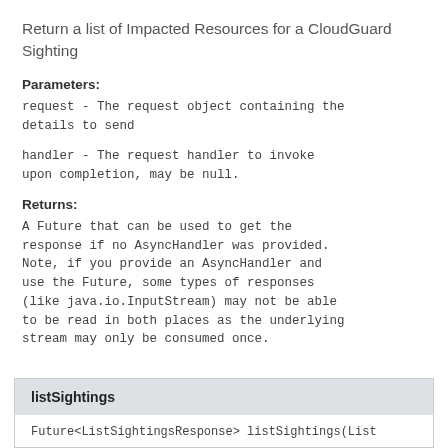Return a list of Impacted Resources for a CloudGuard Sighting
Parameters:
request - The request object containing the details to send
handler - The request handler to invoke upon completion, may be null.
Returns:
A Future that can be used to get the response if no AsyncHandler was provided. Note, if you provide an AsyncHandler and use the Future, some types of responses (like java.io.InputStream) may not be able to be read in both places as the underlying stream may only be consumed once.
listSightings
Future<ListSightingsResponse> listSightings(List